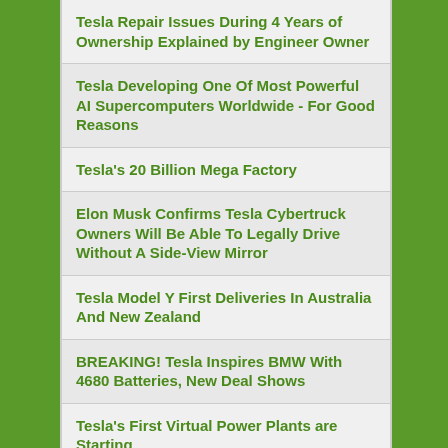Tesla Repair Issues During 4 Years of Ownership Explained by Engineer Owner
Tesla Developing One Of Most Powerful AI Supercomputers Worldwide - For Good Reasons
Tesla's 20 Billion Mega Factory
Elon Musk Confirms Tesla Cybertruck Owners Will Be Able To Legally Drive Without A Side-View Mirror
Tesla Model Y First Deliveries In Australia And New Zealand
BREAKING! Tesla Inspires BMW With 4680 Batteries, New Deal Shows
Tesla's First Virtual Power Plants are Starting